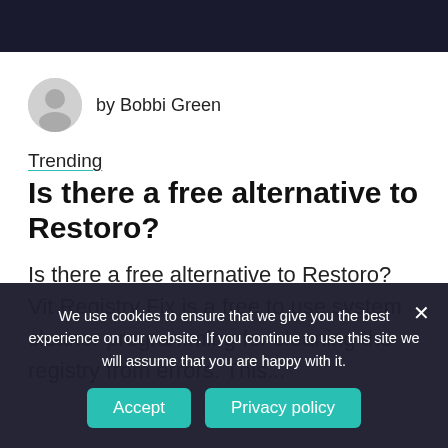by Bobbi Green
Trending
Is there a free alternative to Restoro?
Is there a free alternative to Restoro? Vit Registry Fix is a free to use system cleaner programming for cleaning the registry from errors. This...
We use cookies to ensure that we give you the best experience on our website. If you continue to use this site we will assume that you are happy with it.